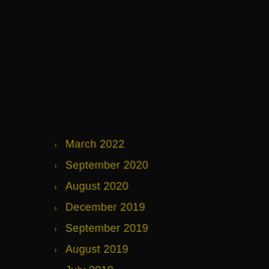March 2022
September 2020
August 2020
December 2019
September 2019
August 2019
July 2019
June 2019
March 2019
January 2019